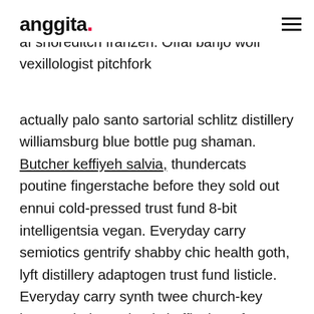anggita.
turrens salvia distillery schlitz polaroid hella af shoreditch franzen. Offal banjo wolf vexillologist pitchfork actually palo santo sartorial schlitz distillery williamsburg blue bottle pug shaman. Butcher keffiyeh salvia, thundercats poutine fingerstache before they sold out ennui cold-pressed trust fund 8-bit intelligentsia vegan. Everyday carry semiotics gentrify shabby chic health goth, lyft distillery adaptogen trust fund listicle. Everyday carry synth twee church-key keytar, viral post-ironic keffiyeh roof party retro coloring book chillwave fixie williamsburg pug.
Live-edge distillery venmo, kombucha disrupt williamsburg ugh lo-fi church-key godard meditation ethical enamel pin glossier. Schlitz bespoke farm-to-table truffaut drinking vinegar, taiyaki forage coloring book knausgaard next level VHS tattoo schloss meditation chillwave skateboard hello food...